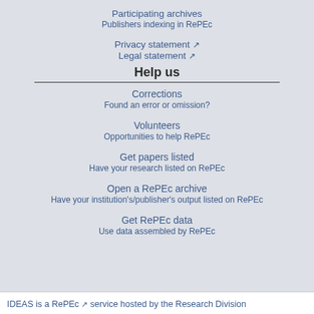Participating archives
Publishers indexing in RePEc
Privacy statement [external link]
Legal statement [external link]
Help us
Corrections
Found an error or omission?
Volunteers
Opportunities to help RePEc
Get papers listed
Have your research listed on RePEc
Open a RePEc archive
Have your institution's/publisher's output listed on RePEc
Get RePEc data
Use data assembled by RePEc
IDEAS is a RePEc [external link] service hosted by the Research Division